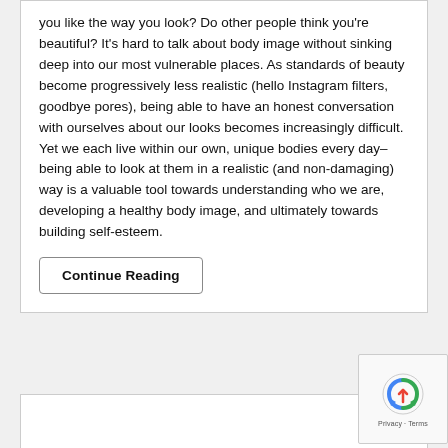you like the way you look? Do other people think you're beautiful? It's hard to talk about body image without sinking deep into our most vulnerable places. As standards of beauty become progressively less realistic (hello Instagram filters, goodbye pores), being able to have an honest conversation with ourselves about our looks becomes increasingly difficult. Yet we each live within our own, unique bodies every day–being able to look at them in a realistic (and non-damaging) way is a valuable tool towards understanding who we are, developing a healthy body image, and ultimately towards building self-esteem.
Continue Reading